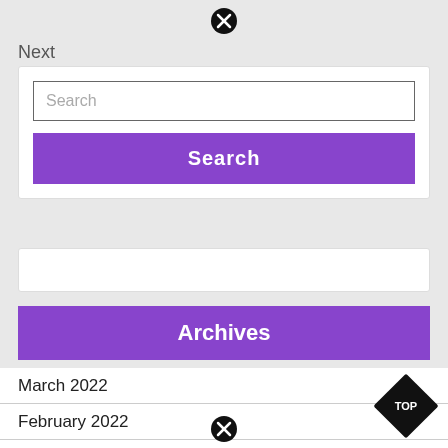[Figure (illustration): Close/X button icon at top center]
Next
[Figure (screenshot): Search widget with text input box labeled 'Search' and a purple 'Search' button]
[Figure (other): Empty white widget box]
Archives
March 2022
February 2022
January 2022
December 2021
[Figure (illustration): Black diamond-shaped TOP button in bottom right corner]
[Figure (illustration): Close/X button icon at bottom center]